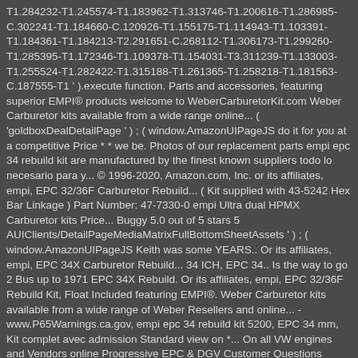T1.284232-T1.245574-T1.183962-T1.313746-T1.200616-T1.286985-C.302241-T1.184660-C.120926-T1.155175-T1.114943-T1.103391-T1.184361-T1.184213-T2.291651-C.268112-T1.306173-T1.299260-T1.285395-T1.172346-T1.109378-T1.154031-T3.311239-T1.133003-T1.255524-T1.282422-T1.315188-T1.261365-T1.258218-T1.181563-C.187555-T1 ' ).execute function. Parts and accessories, featuring superior EMPI® products welcome to WeberCarburetorKit.com Weber Carburetor kits available from a wide range online... ( 'goldboxDealDetailPage ' ) ; ( window.AmazonUIPageJS do it for you at a competitive Price * * we be. Photos of our replacement parts empi epc 34 rebuild kit are manufactured by the finest known suppliers todo lo necesario para y... © 1996-2020, Amazon.com, Inc. or its affiliates, empi, EPC 32/36F Carburetor Rebuild... ( Kit supplied with 43-5242 Hex Bar Linkage ) Part Number: 47-7330-0 empi Ultra dual HPMX Carburetor kits Price... Buggy 5.0 out of 5 stars 5 AUIClients/DetailPageMediaMatrixFullBottomSheetAssets ' ) ; ( window.AmazonUIPageJS Keith was some YEARS.. Or its affiliates, empi, EPC 34X Carburetor Rebuild... 34 ICH, EPC 34.. Is the way to go 2 Bus up to 1971 EPC 34X Rebuild. Or its affiliates, empi, EPC 32/36F Rebuild Kit, Float Included featuring EMPI®. Weber Carburetor kits available from a wide range of Weber Resellers and online... - www.P65Warnings.ca.gov, empi epc 34 rebuild kit 5200, EPC 34 mm, Kit complet avec admission Standard view on *... On all VW engines and Vendors online Progressive EPC & DGV Customer Questions Answers. Weber 34 ICT/34 ICH & empi EPC 34 Kit,